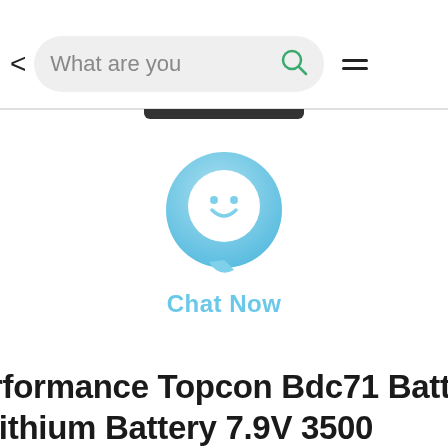[Figure (screenshot): Mobile app navigation bar with back arrow, search bar showing 'What are you', search icon (green), and hamburger menu icon]
[Figure (illustration): Chat Now button icon — a circular gradient blue speech bubble with a smiley face, labeled 'Chat Now' in light blue text]
rformance Topcon Bdc71 Battery lithium Battery 7.9V 3500...